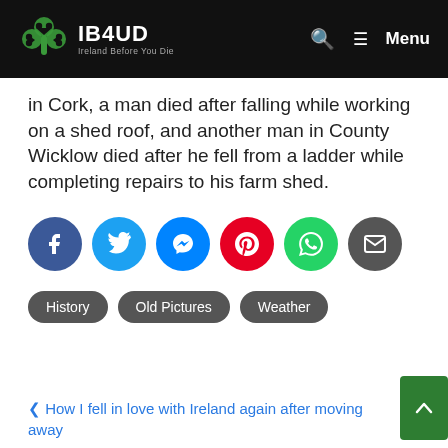IB4UD Ireland Before You Die — Menu
In Cork, a man died after falling while working on a shed roof, and another man in County Wicklow died after he fell from a ladder while completing repairs to his farm shed.
[Figure (infographic): Social sharing buttons: Facebook (dark blue), Twitter (light blue), Messenger (blue), Pinterest (red), WhatsApp (green), Email (dark grey)]
History
Old Pictures
Weather
< How I fell in love with Ireland again after moving away